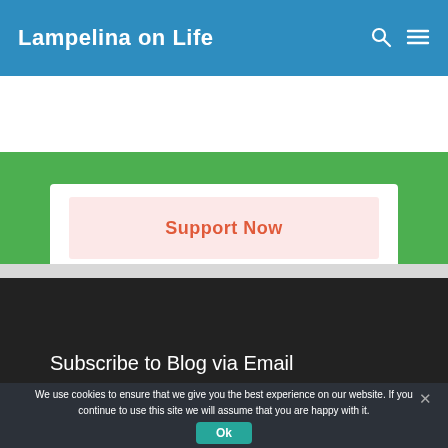Lampelina on Life
[Figure (screenshot): Support Now button with pink background inside a white box on a green background]
Follow Lampelina on Life  2,751
Subscribe to Blog via Email
We use cookies to ensure that we give you the best experience on our website. If you continue to use this site we will assume that you are happy with it.
Ok